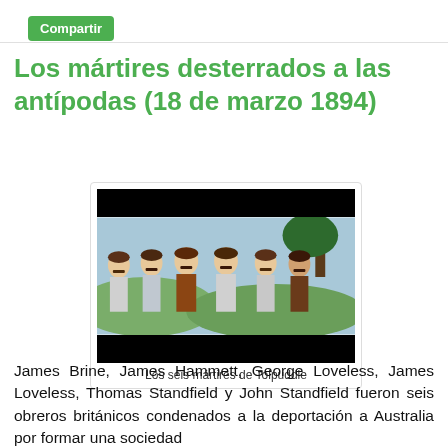Compartir
Los mártires desterrados a las antípodas (18 de marzo 1894)
[Figure (illustration): Illustration of the six Tolpuddle martyrs — six men depicted in a folk-art style, standing together outdoors with trees and hills in the background. The top and bottom of the image are blacked out.]
Los seis mártires de Tolpuddle
James Brine, James Hammett, George Loveless, James Loveless, Thomas Standfield y John Standfield fueron seis obreros británicos condenados a la deportación a Australia por formar una sociedad